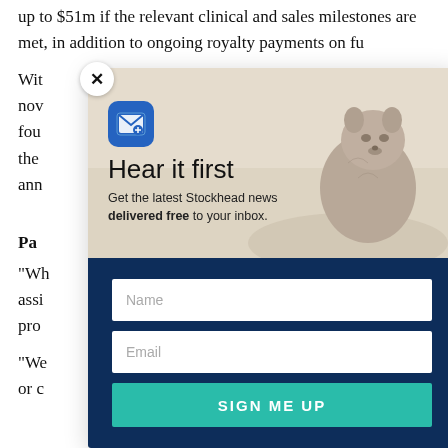up to $51m if the relevant clinical and sales milestones are met, in addition to ongoing royalty payments on fu...
Wit... y now... fou... HD the... ann...
Pa...
"Wh... to assi... pro...
"We... d or c...
[Figure (screenshot): Modal popup overlay with 'Hear it first' newsletter signup. Top half shows a groundhog/prairie dog photo with blue mail icon and headline 'Hear it first' plus subtext 'Get the latest Stockhead news delivered free to your inbox.' Bottom half is dark navy blue with Name and Email input fields and a teal 'SIGN ME UP' button. Close (X) button at top left of modal.]